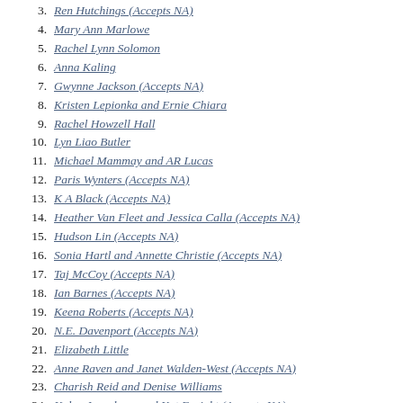3. Ren Hutchings (Accepts NA)
4. Mary Ann Marlowe
5. Rachel Lynn Solomon
6. Anna Kaling
7. Gwynne Jackson (Accepts NA)
8. Kristen Lepionka and Ernie Chiara
9. Rachel Howzell Hall
10. Lyn Liao Butler
11. Michael Mammay and AR Lucas
12. Paris Wynters (Accepts NA)
13. K A Black (Accepts NA)
14. Heather Van Fleet and Jessica Calla (Accepts NA)
15. Hudson Lin (Accepts NA)
16. Sonia Hartl and Annette Christie (Accepts NA)
17. Taj McCoy (Accepts NA)
18. Ian Barnes (Accepts NA)
19. Keena Roberts (Accepts NA)
20. N.E. Davenport (Accepts NA)
21. Elizabeth Little
22. Anne Raven and Janet Walden-West (Accepts NA)
23. Charish Reid and Denise Williams
24. Kalyn Josephson and Kat Enright (Accepts NA)
25. Gladys Qin (Accepts NA)
26. Tanen Jones (Accepts NA)